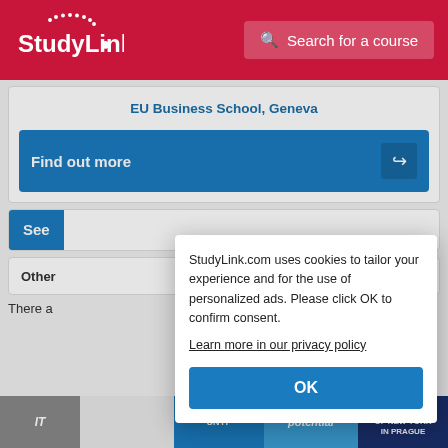StudyLink | Search for a course
EU Business School, Geneva
Find out more
See
Other
There a
StudyLink.com uses cookies to tailor your experience and for the use of personalized ads. Please click OK to confirm consent.
Learn more in our privacy policy
OK